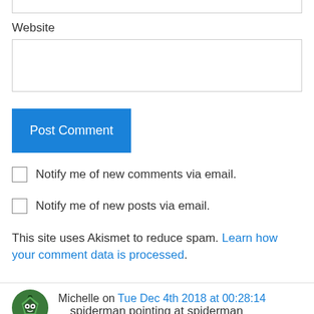Website
Notify me of new comments via email.
Notify me of new posts via email.
This site uses Akismet to reduce spam. Learn how your comment data is processed.
Michelle on Tue Dec 4th 2018 at 00:28:14
spiderman pointing at spiderman